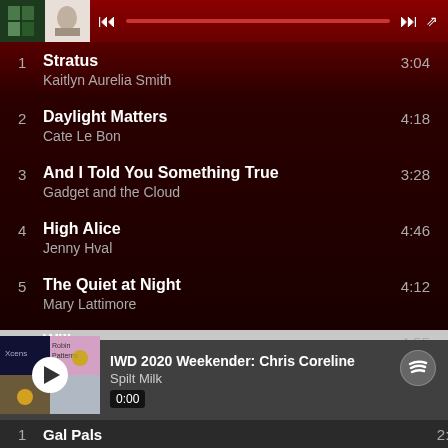[Figure (screenshot): Music player top bar with album thumbnails and progress bar on dark red background]
1  Stratus  3:04
Kaitlyn Aurelia Smith
2  Daylight Matters  4:18
Cate Le Bon
3  And I Told You Something True  3:28
Gadget and the Cloud
4  High Alice  4:46
Jenny Hval
5  The Quiet at Night  4:12
Mary Lattimore
6  Willow  4:55
Joan Armatrading
[Figure (screenshot): Bottom music player showing IWD 2020 Weekender: Chris Coreline playlist by Spilt Milk with album art, play button, timestamp 0:00, and playback controls]
1  Gal Pals  2:50